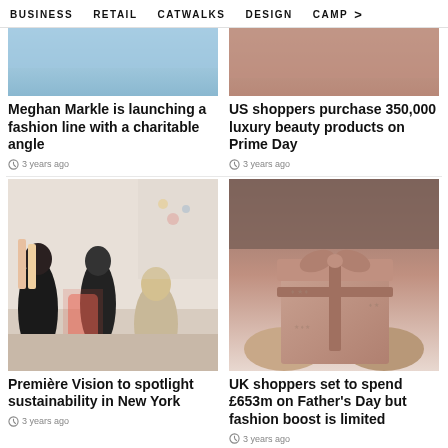BUSINESS   RETAIL   CATWALKS   DESIGN   CAMP >
[Figure (photo): Top portion of a blue/light image, partial crop at top of page]
Meghan Markle is launching a fashion line with a charitable angle
3 years ago
[Figure (photo): Top portion of a warm brown/beige image, partial crop at top of page]
US shoppers purchase 350,000 luxury beauty products on Prime Day
3 years ago
[Figure (photo): Crowd at a fashion trade show, people browsing colorful fabric garments]
Première Vision to spotlight sustainability in New York
3 years ago
[Figure (photo): Hands holding a rose gold wrapped gift box with ribbon and bow]
UK shoppers set to spend £653m on Father's Day but fashion boost is limited
3 years ago